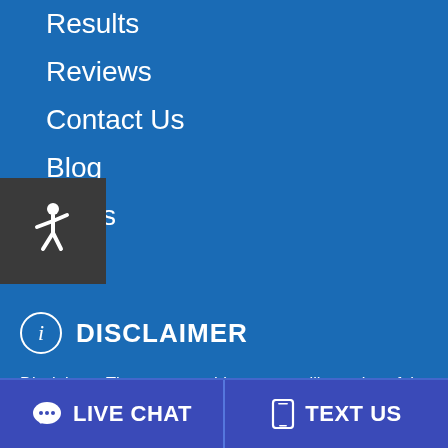Results
Reviews
Contact Us
Blog
FAQs
[Figure (illustration): Accessibility icon (wheelchair symbol) on dark gray background]
DISCLAIMER
Disclaimer: The cases on this page are illustrative of the matters handled by the firm and do not include all results achieved by the firm. The outcome of a particular case can't be predicated by a lawyer's or firm's past results. Each case is different, and the value of a case can depend on a number of factors, such as: the facts
LIVE CHAT   TEXT US